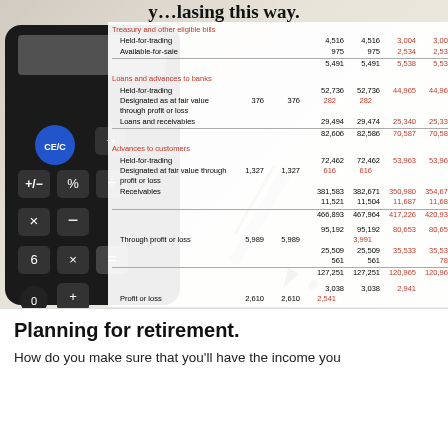[Figure (photo): Background image showing a calculator (black with blue CE/C button and arithmetic operation keys) overlaid on a financial document with columns of numbers. A pen/ballpoint pen is also visible resting on the document. The financial table shows treasury bills, loans and advances data with values in columns.]
|  | Col1 | Col2 | Col3 | Col4 |
| --- | --- | --- | --- | --- |
| Treasury and other eligible bills |  |  |  |  |
| Held-for-trading | 4,516 | 4,516 | 3,004 | 3,004 |
| Available-for-sale | 975 | 975 | 2,534 | 2,534 |
|  | 5,491 | 5,491 | 5,538 | 5,538 |
| Loans and advances to banks |  |  |  |  |
| Held-for-trading | 52,736 | 52,736 | 44,965 | 44,965 |
| Designated as at fair value through profit or loss | 376 | 376 | 282 | 282 |
| Loans and receivables | 29,494 | 29,474 | 25,340 | 25,336 |
|  | 82,606 | 82,586 | 70,587 | 70,583 |
| Advances to customers |  |  |  |  |
| Held-for-trading | 72,462 | 72,462 | 53,963 | 53,963 |
| Designated at fair value through profit or loss | 1,327 | 1,327 | 616 | 616 |
| Receivables | 381,583 | 382,671 | 350,980 | 354,670 |
|  | 11,521 | 11,504 | 11,687 | 11,687 |
|  | 466,893 | 467,964 | 417,226 | 420,936 |
|  | 95,192 | 95,192 | 80,653 | 80,653 |
| Through profit or loss | 5,989 | 5,989 |  | 3,991 |
|  | 25,509 | 25,509 | 35,533 | 35,533 |
|  | 561 | 561 |  | 788 |
|  | 127,251 | 127,251 | 120,965 | 120,965 |
|  | 3,038 | 3,038 | 2,941 |  |
| Profit or loss | 2,610 | 2,610 | 2,541 |  |
Planning for retirement.
How do you make sure that you'll have the income you